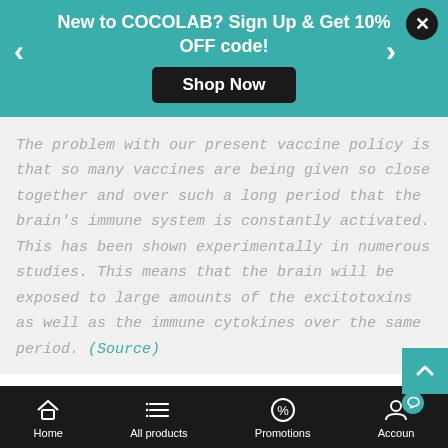[Figure (screenshot): Teal promotional banner: 'New to COCOLAB? Sign Up & Get 10% OFF code!' with Shop Now button, left/right arrows, and close X button]
The problem with our present vaccine policy is that so many vaccines are being given so close together and over such a long period that the brain's immune system is constantly activated. This has been shown experimentally in numerous studies. This means that the brain will be exposed to large amounts of the excitotoxins as well as the immune cytokines over the same period. (Source)
It seems plausible that cytokine storms triggered by vaccine adjuvants such as aluminum, or vaccine
Home   All products   Promotions   Account